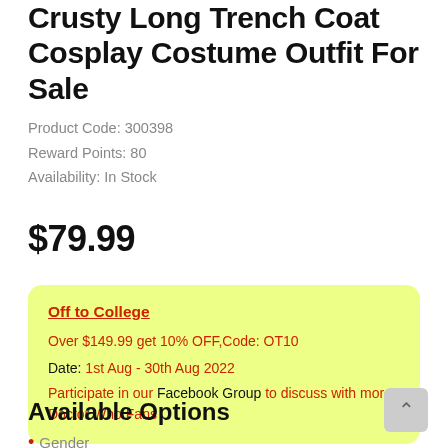Crusty Long Trench Coat Cosplay Costume Outfit For Sale
Product Code: 300398
Reward Points: 80
Availability: In Stock
$79.99
Off to College
Over $149.99 get 10% OFF,Code: OT10
Date: 1st Aug - 30th Aug 2022
Participate in our Facebook Group to discuss with more Doctor Who Fans
Available Options
* Gender